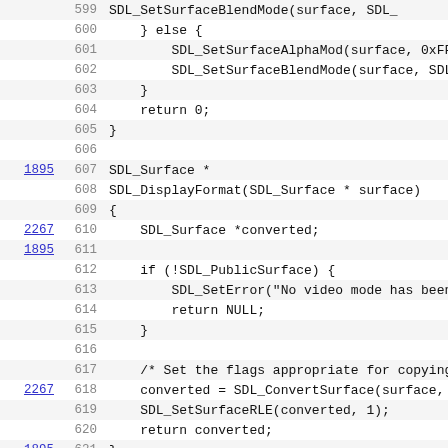[Figure (screenshot): Source code viewer showing C code lines 599-621 for SDL surface functions, with line reference numbers in the left margin (some highlighted as hyperlinks: 1895, 2267, 1895, 2267, 1895) and line numbers 599-621, displaying SDL_SetSurfaceBlendMode, SDL_SetSurfaceAlphaMod, SDL_DisplayFormat, SDL_Surface, SDL_PublicSurface, SDL_SetError, SDL_ConvertSurface, SDL_SetSurfaceRLE functions.]